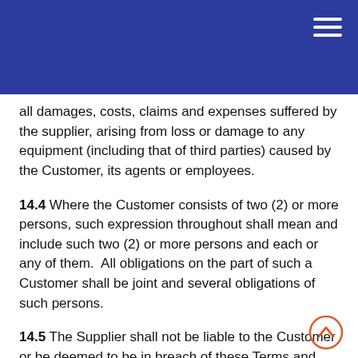all damages, costs, claims and expenses suffered by the supplier, arising from loss or damage to any equipment (including that of third parties) caused by the Customer, its agents or employees.
14.4 Where the Customer consists of two (2) or more persons, such expression throughout shall mean and include such two (2) or more persons and each or any of them.  All obligations on the part of such a Customer shall be joint and several obligations of such persons.
14.5 The Supplier shall not be liable to the Customer or be deemed to be in breach of these Terms and Conditions by reason of any delay in performing, or any failure to perform, any of the Supplier's obligations if the